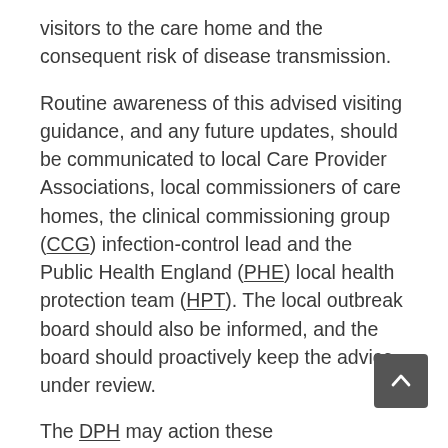visitors to the care home and the consequent risk of disease transmission.
Routine awareness of this advised visiting guidance, and any future updates, should be communicated to local Care Provider Associations, local commissioners of care homes, the clinical commissioning group (CCG) infection-control lead and the Public Health England (PHE) local health protection team (HPT). The local outbreak board should also be informed, and the board should proactively keep the advice under review.
The DPH may action these communications themselves or formally request another organisation or individual to act on their behalf.
Where, for whatever reason and at any time an individual or group of care homes is/are